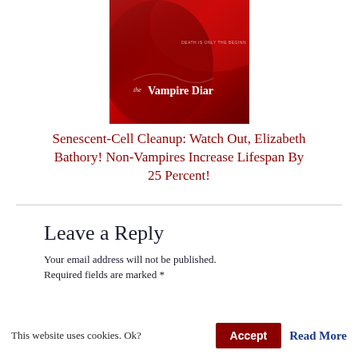[Figure (photo): Partial view of The Vampire Diaries book/show cover with dark red background and text 'the Vampire Diar...' visible, with 'DEATH IS ONLY THE BEGINN...' tagline]
Senescent-Cell Cleanup: Watch Out, Elizabeth Bathory! Non-Vampires Increase Lifespan By 25 Percent!
Leave a Reply
Your email address will not be published. Required fields are marked *
This website uses cookies. Ok?